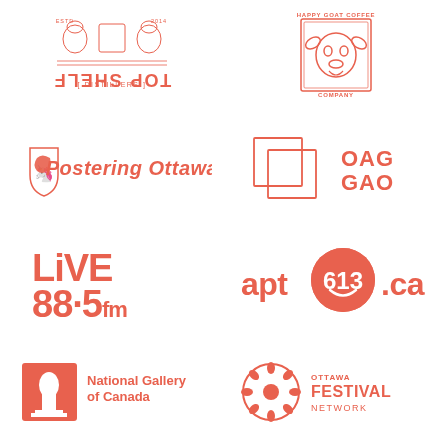[Figure (logo): Top Shelf Distillers logo - mirrored/upside-down text with unicorn and lion heraldic animals, salmon/coral color]
[Figure (logo): Happy Goat Coffee Company logo - goat face in rectangular stamp style, salmon/coral color]
[Figure (logo): Postering Ottawa logo - shield with dragon and cursive text, salmon/coral color]
[Figure (logo): OAG GAO logo - geometric overlapping rectangles with text, salmon/coral color]
[Figure (logo): LiVE 88.5 FM radio station logo in bold lettering, salmon/coral color]
[Figure (logo): apt613.ca logo with circle containing 613 and smiley face, salmon/coral color]
[Figure (logo): National Gallery of Canada logo - building silhouette in square with text, salmon/coral color]
[Figure (logo): Ottawa Festival Network logo - circular flower/snowflake icon with text, salmon/coral color]